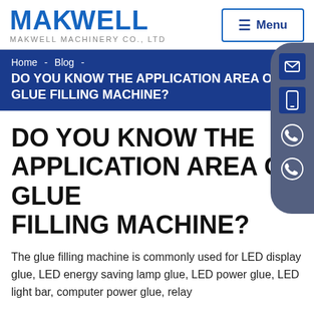MAKWELL — MAKWELL MACHINERY CO., LTD | Menu
Home - Blog - DO YOU KNOW THE APPLICATION AREA OF GLUE FILLING MACHINE?
DO YOU KNOW THE APPLICATION AREA OF GLUE FILLING MACHINE?
The glue filling machine is commonly used for LED display glue, LED energy saving lamp glue, LED power glue, LED light bar, computer power glue, relay